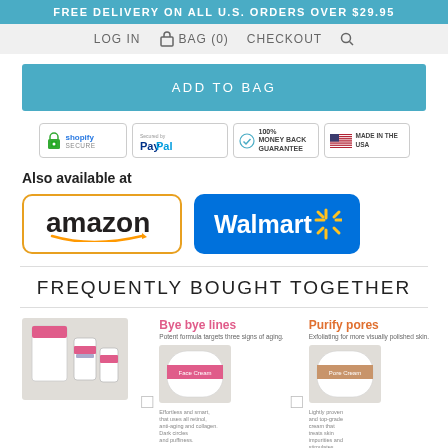FREE DELIVERY ON ALL U.S. ORDERS OVER $29.95
LOG IN  BAG (0)  CHECKOUT
ADD TO BAG
[Figure (infographic): Trust badges: Shopify Secure, Secured by PayPal, 100% Money Back Guarantee, Made in the USA]
Also available at
[Figure (logo): Amazon logo in orange-bordered white box]
[Figure (logo): Walmart logo on blue background]
FREQUENTLY BOUGHT TOGETHER
[Figure (photo): Anti-aging skincare product set]
Bye bye lines
Potent formula targets three signs of aging.
[Figure (photo): Face cream jar product]
Purify pores
Exfoliating for more visually polished skin.
[Figure (photo): Pore purifying cream jar product]